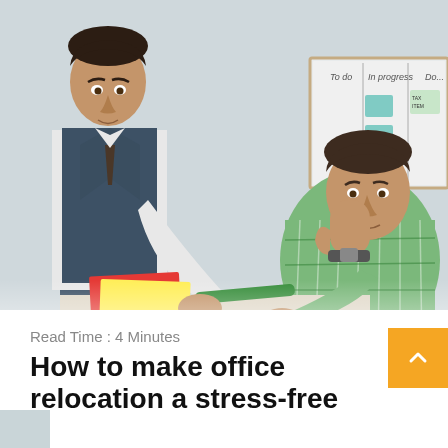[Figure (photo): Two men in an office setting. One man standing, wearing a dark vest and tie, leaning over a table pointing at documents. Another man seated, wearing a plaid shirt, resting his head on his hand looking stressed. A whiteboard with sticky notes labeled 'To do', 'In progress', 'Done' is visible in the background.]
Read Time : 4 Minutes
How to make office relocation a stress-free